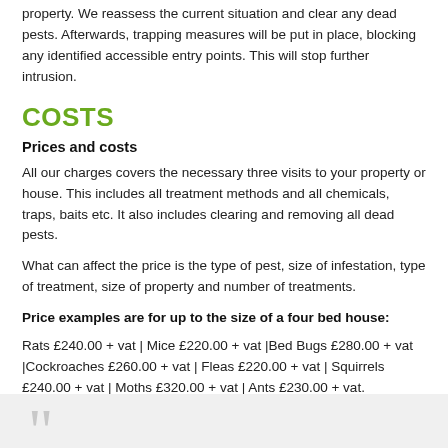property. We reassess the current situation and clear any dead pests. Afterwards, trapping measures will be put in place, blocking any identified accessible entry points. This will stop further intrusion.
COSTS
Prices and costs
All our charges covers the necessary three visits to your property or house. This includes all treatment methods and all chemicals, traps, baits etc. It also includes clearing and removing all dead pests.
What can affect the price is the type of pest, size of infestation, type of treatment, size of property and number of treatments.
Price examples are for up to the size of a four bed house:
Rats £240.00 + vat | Mice £220.00 + vat | Bed Bugs £280.00 + vat | Cockroaches £260.00 + vat | Fleas £220.00 + vat | Squirrels £240.00 + vat | Moths £320.00 + vat | Ants £230.00 + vat.
Call us on 0800 772 3262 for more details or book a pest controller here.
[Figure (other): Gray background box with large decorative quotation mark]